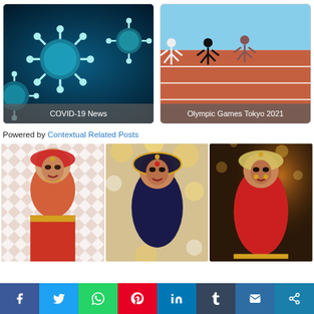[Figure (photo): COVID-19 virus particles on dark teal background with label 'COVID-19 News']
[Figure (photo): Athletes running on a track at Olympic Games Tokyo 2021 with label overlay]
Powered by Contextual Related Posts
[Figure (photo): Three photos of Indian brides in traditional bridal attire with gold jewelry and colorful saris]
[Figure (infographic): Social media sharing bar with Facebook, Twitter, WhatsApp, Pinterest, LinkedIn, Tumblr, Email, Share buttons]